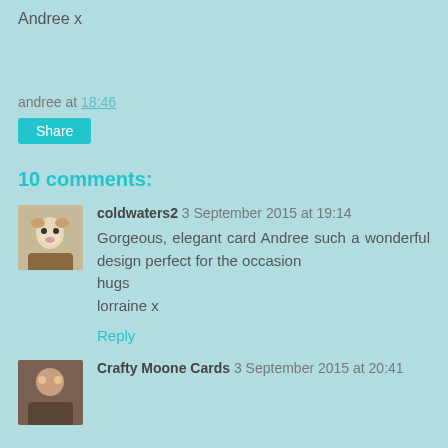Andree x
andree at 18:46
Share
10 comments:
coldwaters2 3 September 2015 at 19:14
Gorgeous, elegant card Andree such a wonderful design perfect for the occasion
hugs
lorraine x
Reply
Crafty Moone Cards 3 September 2015 at 20:41